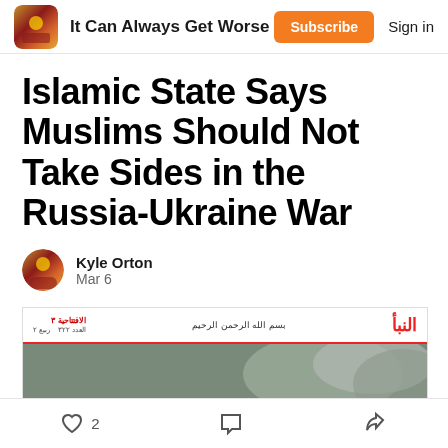It Can Always Get Worse
Islamic State Says Muslims Should Not Take Sides in the Russia-Ukraine War
Kyle Orton
Mar 6
[Figure (screenshot): A newspaper page header in Arabic from Al-Naba with red line and logo, above a war photograph showing soldiers holding a Ukrainian flag near burning wreckage with an ISIS-branded banner overlay.]